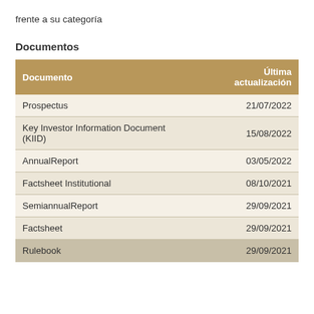frente a su categoría
Documentos
| Documento | Última actualización |
| --- | --- |
| Prospectus | 21/07/2022 |
| Key Investor Information Document (KIID) | 15/08/2022 |
| AnnualReport | 03/05/2022 |
| Factsheet Institutional | 08/10/2021 |
| SemiannualReport | 29/09/2021 |
| Factsheet | 29/09/2021 |
| Rulebook | 29/09/2021 |